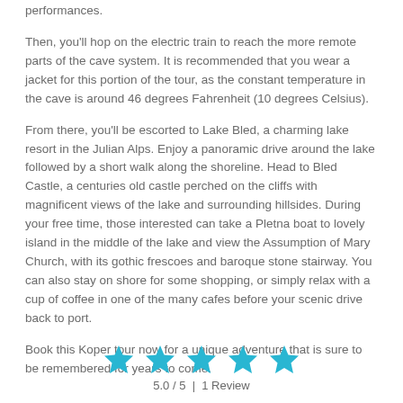performances.
Then, you'll hop on the electric train to reach the more remote parts of the cave system. It is recommended that you wear a jacket for this portion of the tour, as the constant temperature in the cave is around 46 degrees Fahrenheit (10 degrees Celsius).
From there, you'll be escorted to Lake Bled, a charming lake resort in the Julian Alps. Enjoy a panoramic drive around the lake followed by a short walk along the shoreline. Head to Bled Castle, a centuries old castle perched on the cliffs with magnificent views of the lake and surrounding hillsides. During your free time, those interested can take a Pletna boat to lovely island in the middle of the lake and view the Assumption of Mary Church, with its gothic frescoes and baroque stone stairway. You can also stay on shore for some shopping, or simply relax with a cup of coffee in one of the many cafes before your scenic drive back to port.
Book this Koper tour now for a unique adventure that is sure to be remembered for years to come.
[Figure (other): Five teal/cyan star rating icons in a row]
5.0 / 5  |  1 Review